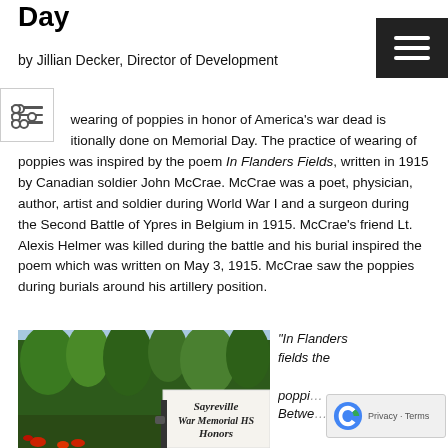Day
by Jillian Decker, Director of Development
The wearing of poppies in honor of America's war dead is traditionally done on Memorial Day. The practice of wearing of poppies was inspired by the poem In Flanders Fields, written in 1915 by Canadian soldier John McCrae. McCrae was a poet, physician, author, artist and soldier during World War I and a surgeon during the Second Battle of Ypres in Belgium in 1915. McCrae's friend Lt. Alexis Helmer was killed during the battle and his burial inspired the poem which was written on May 3, 1915. McCrae saw the poppies during burials around his artillery position.
[Figure (photo): Photo of Sayreville War Memorial HS Honors sign surrounded by green trees and ivy]
"In Flanders fields the poppies... Between... crosses...